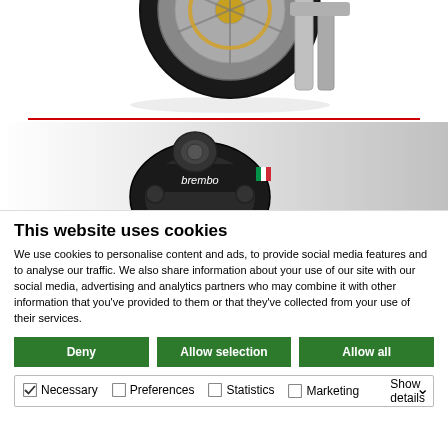[Figure (photo): Partial view of a motorcycle front wheel and suspension assembly on white background]
[Figure (photo): Partial view of a Brembo brake caliper component on white/light grey background]
This website uses cookies
We use cookies to personalise content and ads, to provide social media features and to analyse our traffic. We also share information about your use of our site with our social media, advertising and analytics partners who may combine it with other information that you've provided to them or that they've collected from your use of their services.
Deny | Allow selection | Allow all
Necessary  Preferences  Statistics  Marketing  Show details